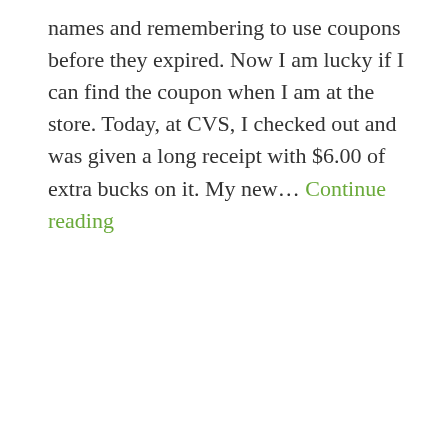names and remembering to use coupons before they expired. Now I am lucky if I can find the coupon when I am at the store. Today, at CVS, I checked out and was given a long receipt with $6.00 of extra bucks on it. My new... Continue reading
coupons
memory
neurologist
[Figure (photo): A blurry photo of a tunnel or corridor with a bright yellow-green light and what appears to be a metal pole or railing in the foreground.]